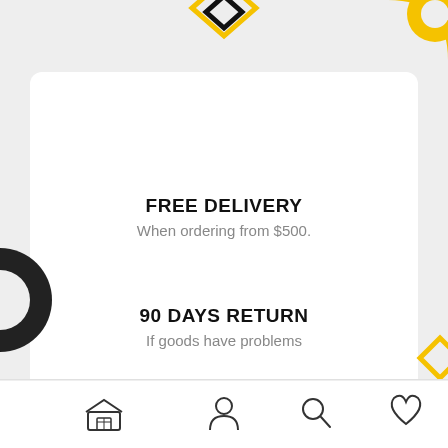[Figure (illustration): Decorative background with yellow/gold geometric chevron shape at top center, yellow arc at top right, black circle segment at left, yellow diamond at right middle, yellow arc at bottom right, black/yellow curved shape at bottom left]
FREE DELIVERY
When ordering from $500.
90 DAYS RETURN
If goods have problems
SECURE PAYMENT
100% secure payment
[Figure (illustration): Bottom navigation bar with four icons: store/shop icon, person/profile icon, search/magnifier icon, heart/favorite icon]